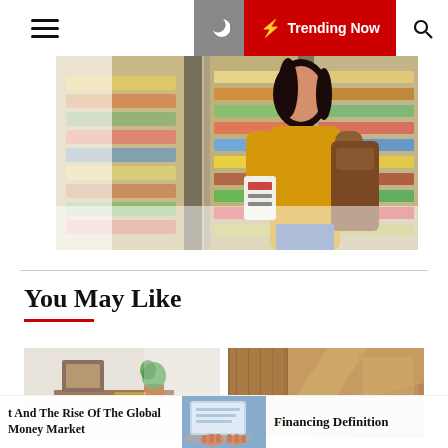☰  🌙  ⚡ Trending Now  🔍
[Figure (photo): Woman in yellow sweater reading a product label in a grocery store aisle with colorful shelves in the background]
You May Like
[Figure (photo): Home office desk scene with small orange pot plant and framed artwork]
[Figure (photo): Interior hallway or corridor with wooden wall paneling and sunlight shadows]
t And The Rise Of The Global Money Market
[Figure (photo): Person typing on laptop keyboard, close-up view]
Financing Definition